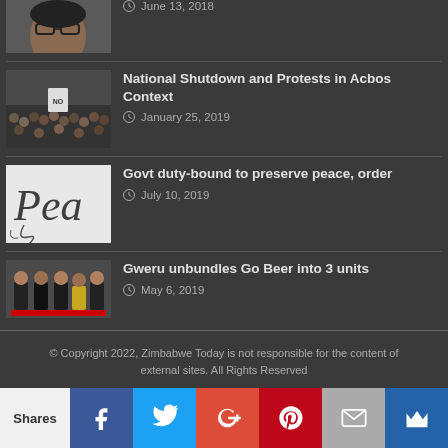[Figure (photo): Partial view of a person's face — top of the image cropped]
June 13, 2018
[Figure (photo): Crowd of protesters holding signs]
National Shutdown and Protests in Acbos Context
January 25, 2019
[Figure (photo): Calligraphic text showing 'Peace']
Govt duty-bound to preserve peace, order
July 10, 2019
[Figure (photo): Group of men in suits cutting a red ribbon at an event]
Gweru unbundles Go Beer into 3 units
May 6, 2019
© Copyright 2022, Zimbabwe Today is not responsible for the content of external sites. All Rights Reserved